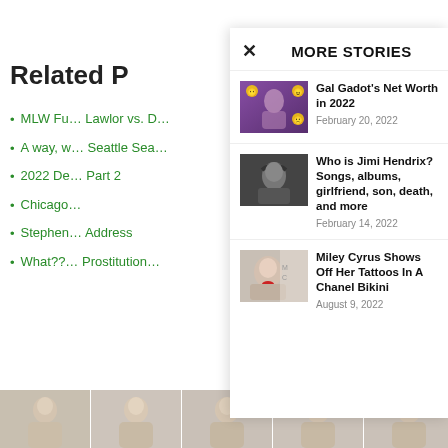Related P…
MLW Fu… Lawlor vs. D…
A way, w… Seattle Sea…
2022 De… Part 2
Chicago…
Stephen… Address
What??… Prostitution…
MORE STORIES
[Figure (photo): Thumbnail image with purple emoji background and a woman]
Gal Gadot's Net Worth in 2022
February 20, 2022
[Figure (photo): Black and white photo of Jimi Hendrix]
Who is Jimi Hendrix? Songs, albums, girlfriend, son, death, and more
February 14, 2022
[Figure (photo): Photo of Miley Cyrus with red lips]
Miley Cyrus Shows Off Her Tattoos In A Chanel Bikini
August 9, 2022